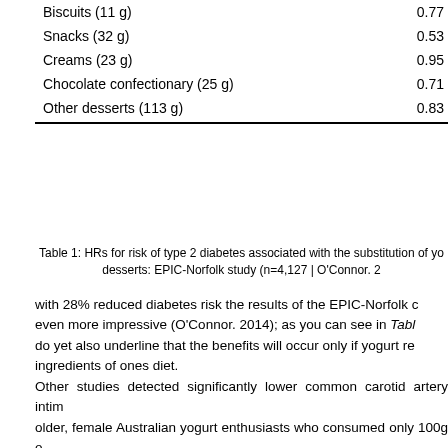| Food item | HR |
| --- | --- |
| Biscuits (11 g) | 0.77 |
| Snacks (32 g) | 0.53 |
| Creams (23 g) | 0.95 |
| Chocolate confectionary (25 g) | 0.71 |
| Other desserts (113 g) | 0.83 |
Table 1: HRs for risk of type 2 diabetes associated with the substitution of yogurt for desserts: EPIC-Norfolk study (n=4,127 | O'Connor. 2014)
with 28% reduced diabetes risk the results of the EPIC-Norfolk cohort are even more impressive (O'Connor. 2014); as you can see in Table 1, they do yet also underline that the benefits will occur only if yogurt replaces ingredients of ones diet.
Other studies detected significantly lower common carotid artery intima in older, female Australian yogurt enthusiasts who consumed only 100g of yogurt IMTadj = -0.023 mm, P< 0·003 | Ivey. 2011). And as far as cheese goes, studies like Struijk et al. (2013) which found significant negative associations and the 2h-post prandial glucose levels, a marker that's highly predictive of (Struijk. 2013) and a much better indicator of diabetes-related CVD risk (Stern. 2001), would suggest that the existing link between higher cheese intake is mediated by the complex food matrices in which cheese appears in (crackers, pizza, etc. In the standard Western diet, cheese is always added on top, which is much in contrast to the way it is consumed in the initially referenced